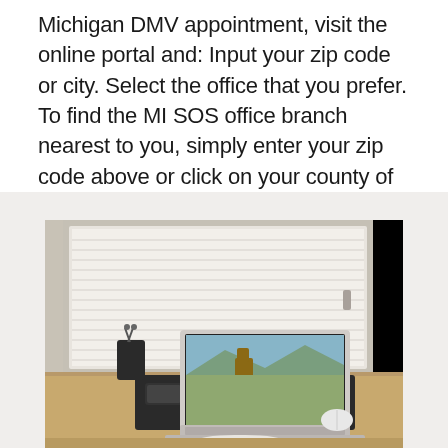Michigan DMV appointment, visit the online portal and: Input your zip code or city. Select the office that you prefer. To find the MI SOS office branch nearest to you, simply enter your zip code above or click on your county of residence below.
[Figure (photo): A laptop computer open on a wooden desk near a window with white blinds. The laptop screen shows an image of a horse in a landscape. A black pen/pencil holder with scissors is on the left, and a phone and mouse are also on the desk. A white chair is partially visible in the foreground.]